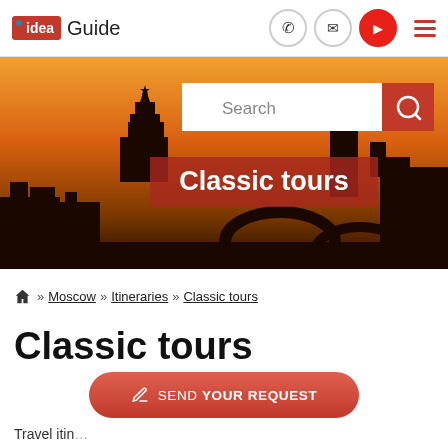[Figure (logo): idea Guide logo with red box, blue dot, and 'Guide' text next to it]
[Figure (photo): Moscow skyline at sunset with Kremlin tower silhouette, golden orange sky, search bar overlay and 'Classic tours' banner]
🏠 » Moscow » Itineraries » Classic tours
Classic tours
SEND YOUR REQUEST
Travel itin… …in 1–3